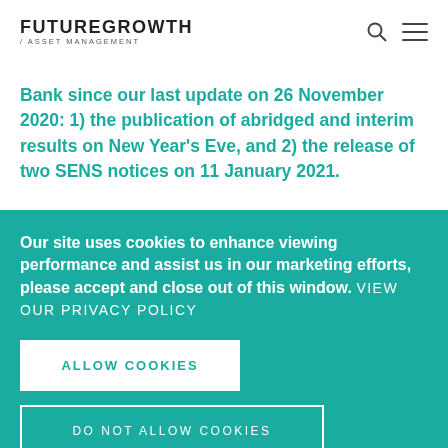FUTUREGROWTH / ASSET MANAGEMENT
Bank since our last update on 26 November 2020: 1) the publication of abridged and interim results on New Year's Eve, and 2) the release of two SENS notices on 11 January 2021.
Our site uses cookies to enhance viewing performance and assist us in our marketing efforts, please accept and close out of this window. VIEW OUR PRIVACY POLICY
ALLOW COOKIES
DO NOT ALLOW COOKIES